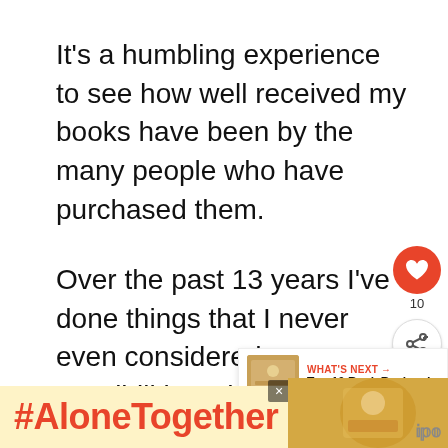It's a humbling experience to see how well received my books have been by the many people who have purchased them.
Over the past 13 years I've done things that I never even considered possibilities when I started this blog. I've helped create web series and evening TV news cooking segments for CBC Newfoundland & Labrador, appeared on li...
[Figure (infographic): Social interaction widget with heart/like button showing 10 likes and a share button]
[Figure (infographic): What's Next promotional box with food image thumbnail, orange arrow label reading 'WHAT'S NEXT →', and text 'Top 10 Rock Recipes!']
#AloneTogether
[Figure (photo): Advertisement thumbnail showing a woman cooking, with a close button (×) and a logo (illi or similar) in the bottom right]